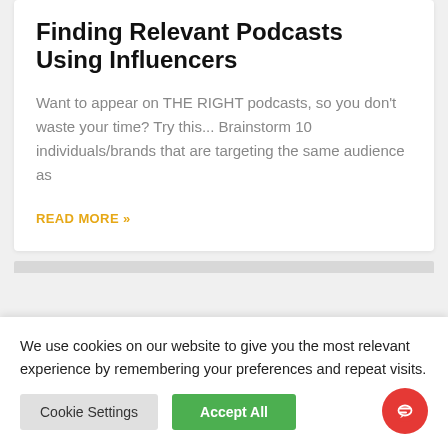Finding Relevant Podcasts Using Influencers
Want to appear on THE RIGHT podcasts, so you don't waste your time? Try this... Brainstorm 10 individuals/brands that are targeting the same audience as
READ MORE »
We use cookies on our website to give you the most relevant experience by remembering your preferences and repeat visits.